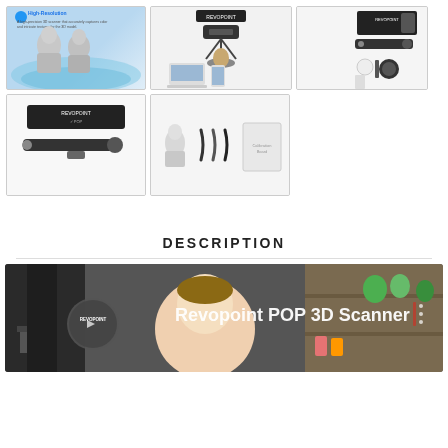[Figure (photo): Revopoint 3D scanner product gallery - high resolution scan of human busts with blue wave background]
[Figure (photo): Revopoint POP 3D scanner on tripod with scanned mask on turntable, laptop and phone shown]
[Figure (photo): Revopoint scanner accessories and accessories box contents on white background]
[Figure (photo): Revopoint scanner device close-up with USB cable and mount]
[Figure (photo): Revopoint scanner accessories: bust, cables, calibration board]
DESCRIPTION
[Figure (screenshot): Revopoint POP 3D Scanner video thumbnail showing man being scanned and toy shelf background with REVOPOINT logo circle overlay and title text]